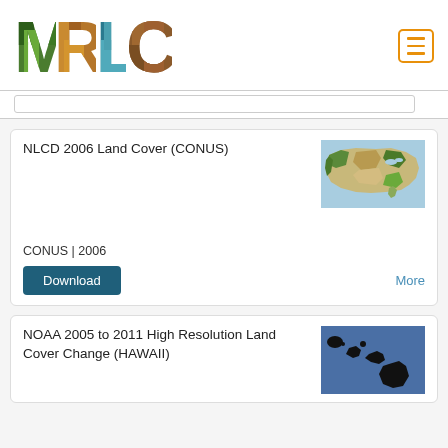[Figure (logo): MRLC logo with letters filled with nature imagery (trees, water, soil)]
NLCD 2006 Land Cover (CONUS)
[Figure (map): Map of contiguous United States showing land cover classification in various colors]
CONUS | 2006
Download
More
NOAA 2005 to 2011 High Resolution Land Cover Change (HAWAII)
[Figure (map): Map of Hawaiian islands showing land cover change, blue background with black island shapes]